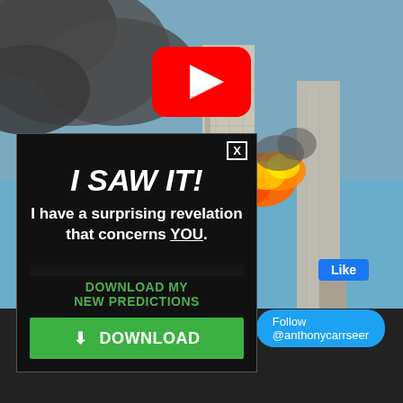[Figure (screenshot): YouTube video screenshot showing the 9/11 World Trade Center attack with smoke and fire, with a YouTube play button overlay in the center]
[Figure (infographic): Black advertisement overlay box with close X button, large text 'I SAW IT!', subtitle 'I have a surprising revelation that concerns YOU.', call to action 'DOWNLOAD MY NEW PREDICTIONS', and a green DOWNLOAD button with download icon]
Like
Follow @anthonycarrseer